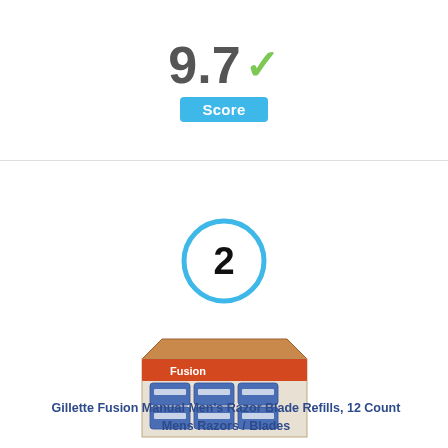[Figure (infographic): Score display showing 9.7 with a green checkmark and a blue 'Score' badge below]
[Figure (infographic): Rank number 2 inside a light blue circle]
[Figure (photo): Product photo of Gillette Fusion razor blade refills in a display box]
Gillette Fusion Manual Men's Razor Blade Refills, 12 Count
Mens Razors / Blades